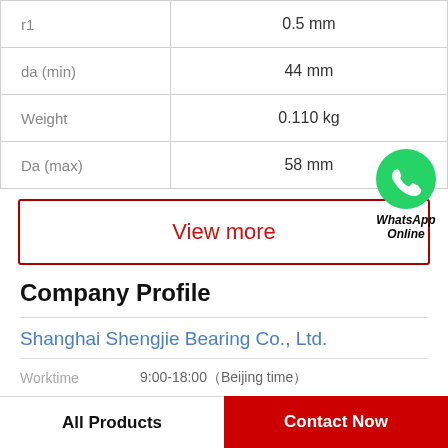| Property | Value |
| --- | --- |
| r1 | 0.5 mm |
| da (min) | 44 mm |
| Weight | 0.110 kg |
| Da (max) | 58 mm |
View more
[Figure (logo): WhatsApp green phone icon with label 'WhatsApp Online']
Company Profile
Shanghai Shengjie Bearing Co., Ltd.
Worktime  9:00-18:00（Beijing time）
All Products    Contact Now